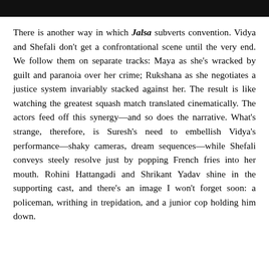There is another way in which Jalsa subverts convention. Vidya and Shefali don't get a confrontational scene until the very end. We follow them on separate tracks: Maya as she's wracked by guilt and paranoia over her crime; Rukshana as she negotiates a justice system invariably stacked against her. The result is like watching the greatest squash match translated cinematically. The actors feed off this synergy—and so does the narrative. What's strange, therefore, is Suresh's need to embellish Vidya's performance—shaky cameras, dream sequences—while Shefali conveys steely resolve just by popping French fries into her mouth. Rohini Hattangadi and Shrikant Yadav shine in the supporting cast, and there's an image I won't forget soon: a policeman, writhing in trepidation, and a junior cop holding him down.